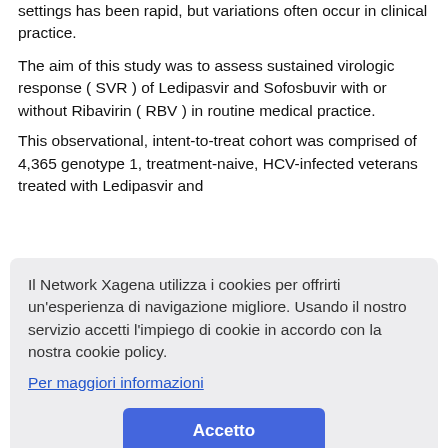settings has been rapid, but variations often occur in clinical practice.
The aim of this study was to assess sustained virologic response ( SVR ) of Ledipasvir and Sofosbuvir with or without Ribavirin ( RBV ) in routine medical practice. This observational, intent-to-treat cohort was comprised of 4,365 genotype 1, treatment-naive, HCV-infected veterans treated with Ledipasvir and Sofosbuvir with or without Ribavirin.
Il Network Xagena utilizza i cookies per offrirti un'esperienza di navigazione migliore. Usando il nostro servizio accetti l'impiego di cookie in accordo con la nostra cookie policy.
Per maggiori informazioni
Accetto
– African American race (odds ratio 0.70, 95% confidence interval 0.54-0.90, P =0.004) and FIB-4 more than 3.25 (odds ratio 0.56, 95% confidence interval 0.43-0.72, P <0.0001) were independently associated with decreased likelihood of SVR; age, sex, body mass index,